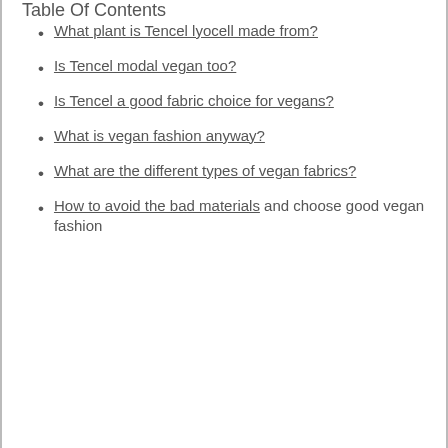Table Of Contents
What plant is Tencel lyocell made from?
Is Tencel modal vegan too?
Is Tencel a good fabric choice for vegans?
What is vegan fashion anyway?
What are the different types of vegan fabrics?
How to avoid the bad materials and choose good vegan fashion